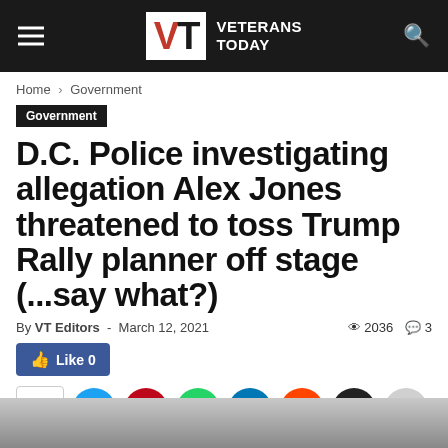VT VETERANS TODAY
Home › Government
Government
D.C. Police investigating allegation Alex Jones threatened to toss Trump Rally planner off stage (...say what?)
By VT Editors - March 12, 2021  👁 2036  💬 3
[Figure (screenshot): Facebook Like button showing 0 likes and social share icons row (Twitter, Pinterest, WhatsApp, LinkedIn, Reddit, Email, More)]
[Figure (photo): Partial image at the bottom of the page, cut off]